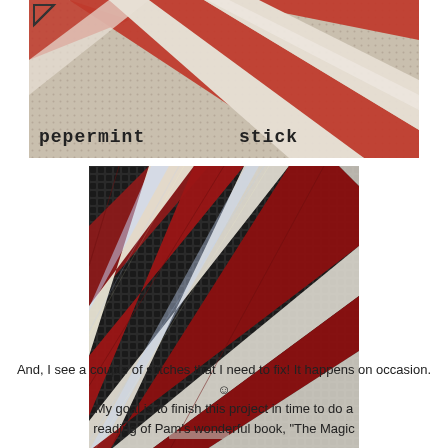[Figure (photo): Close-up photo of a needlepoint canvas showing a candy cane design with red and white diagonal stripes on a grid canvas background, with partial text 'pepermint stick' visible at the bottom in cross-stitch lettering.]
[Figure (photo): Close-up photo of completed needlepoint stitching showing red and white diagonal stripes of a candy cane with shiny/sparkly thread, on a dark grid canvas background.]
And, I see a couple of stitches that I need to fix!  It happens on occasion. ☺
My goal is to finish this project in time to do a reading of Pam's wonderful book, "The Magic